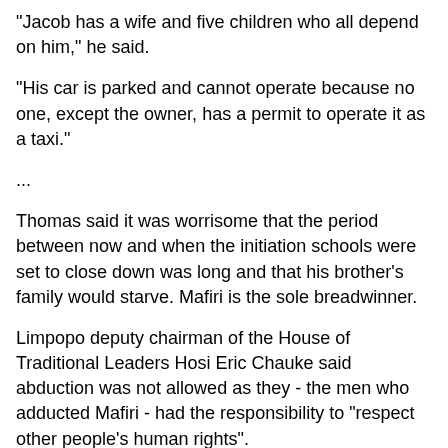"Jacob has a wife and five children who all depend on him," he said.
"His car is parked and cannot operate because no one, except the owner, has a permit to operate it as a taxi."
...
Thomas said it was worrisome that the period between now and when the initiation schools were set to close down was long and that his brother's family would starve. Mafiri is the sole breadwinner.
Limpopo deputy chairman of the House of Traditional Leaders Hosi Eric Chauke said abduction was not allowed as they - the men who adducted Mafiri - had the responsibility to "respect other people's human rights".
"In this case the abductors must be traced and face penalties," Chauke said.
"It is obviously a police case and we will report it."